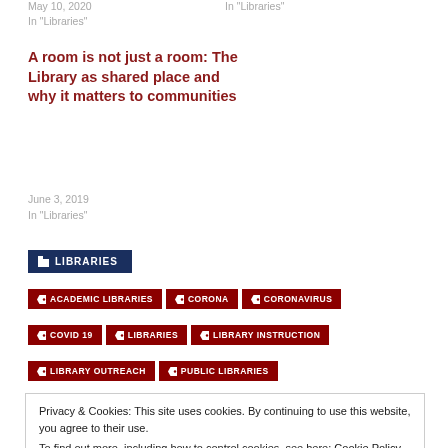May 10, 2020
In "Libraries"
In "Libraries"
A room is not just a room: The Library as shared place and why it matters to communities
June 3, 2019
In "Libraries"
LIBRARIES
ACADEMIC LIBRARIES
CORONA
CORONAVIRUS
COVID 19
LIBRARIES
LIBRARY INSTRUCTION
LIBRARY OUTREACH
PUBLIC LIBRARIES
Privacy & Cookies: This site uses cookies. By continuing to use this website, you agree to their use.
To find out more, including how to control cookies, see here: Cookie Policy
Close and accept